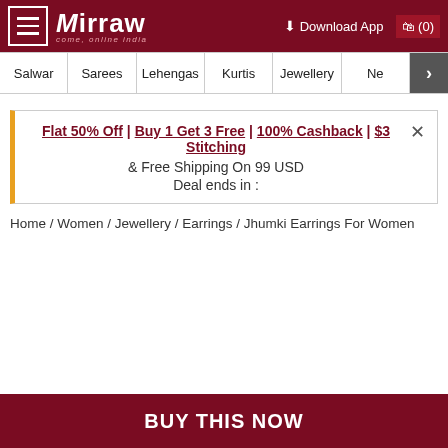MIRRAW | come, online india | Download App | (0)
Salwar
Sarees
Lehengas
Kurtis
Jewellery
Ne
Flat 50% Off | Buy 1 Get 3 Free | 100% Cashback | $3 Stitching & Free Shipping On 99 USD
Deal ends in :
Home / Women / Jewellery / Earrings / Jhumki Earrings For Women
BUY THIS NOW